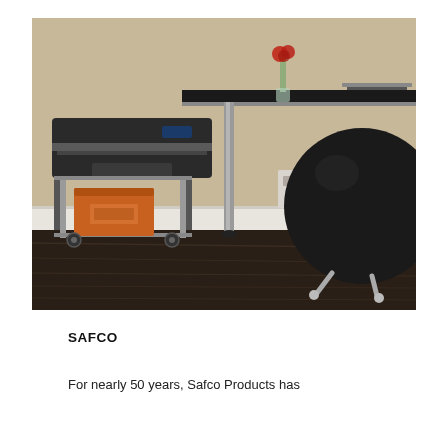[Figure (photo): Office setting with a printer on a wheeled metal cart with an orange storage box underneath, a sleek desk with a small red flower vase and laptop, and a round black exercise/balance ball chair on hardwood floors against a beige wall.]
SAFCO
For nearly 50 years, Safco Products has